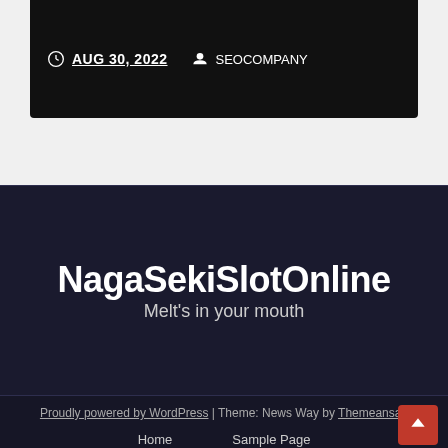AUG 30, 2022  SEOCOMPANY
NagaSekiSlotOnline
Melt's in your mouth
Proudly powered by WordPress | Theme: News Way by Themeansar. Home  Sample Page